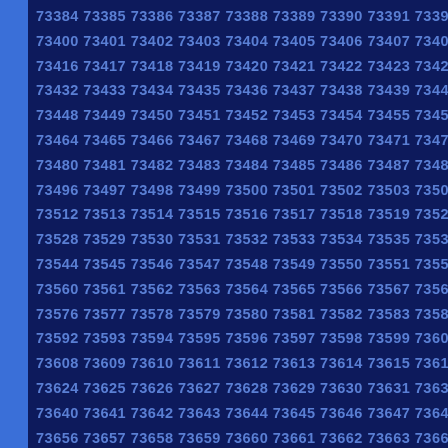73384 73385 73386 73387 73388 73389 73390 73391 73392 73393 73400 73401 73402 73403 73404 73405 73406 73407 73408 73409 73416 73417 73418 73419 73420 73421 73422 73423 73424 73425 73432 73433 73434 73435 73436 73437 73438 73439 73440 73441 73448 73449 73450 73451 73452 73453 73454 73455 73456 73457 73464 73465 73466 73467 73468 73469 73470 73471 73472 73473 73480 73481 73482 73483 73484 73485 73486 73487 73488 73489 73496 73497 73498 73499 73500 73501 73502 73503 73504 73505 73512 73513 73514 73515 73516 73517 73518 73519 73520 73521 73528 73529 73530 73531 73532 73533 73534 73535 73536 73537 73544 73545 73546 73547 73548 73549 73550 73551 73552 73553 73560 73561 73562 73563 73564 73565 73566 73567 73568 73569 73576 73577 73578 73579 73580 73581 73582 73583 73584 73585 73592 73593 73594 73595 73596 73597 73598 73599 73600 73601 73608 73609 73610 73611 73612 73613 73614 73615 73616 73617 73624 73625 73626 73627 73628 73629 73630 73631 73632 73633 73640 73641 73642 73643 73644 73645 73646 73647 73648 73649 73656 73657 73658 73659 73660 73661 73662 73663 73664 73665 73672 73673 73674 73675 73676 73677 73678 73679 73680 73681